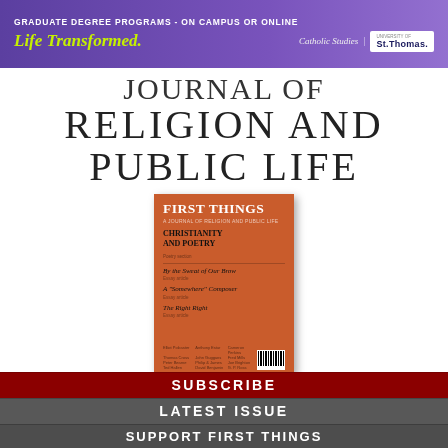[Figure (illustration): Purple advertisement banner for University of St. Thomas Catholic Studies graduate degree programs. Text reads: GRADUATE DEGREE PROGRAMS - ON CAMPUS OR ONLINE / Life Transformed. / Catholic Studies | St. Thomas logo]
JOURNAL OF RELIGION AND PUBLIC LIFE
[Figure (photo): Cover of First Things magazine with orange/terracotta background. Title: FIRST THINGS. Features: CHRISTIANITY AND POETRY, By the Sweat of Our Brow, A 'Somewhere' Composer, The Right Right. List of contributors at bottom. Barcode visible.]
SUBSCRIBE
LATEST ISSUE
SUPPORT FIRST THINGS